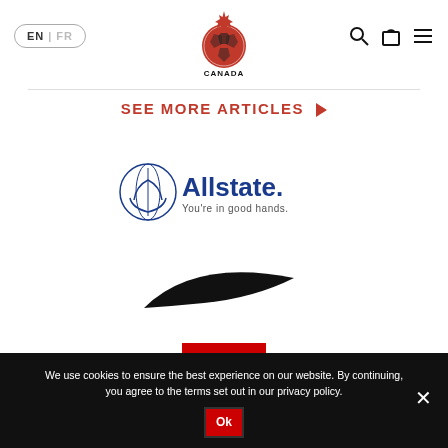[Figure (logo): Canada Soccer logo with red maple leaf and soccer ball, centered in navigation bar]
[Figure (logo): Language toggle EN / FR pill button on left of navigation]
[Figure (screenshot): Navigation bar icons: search, bag, hamburger menu on right side]
SEE MORE ARTICLES ▶
[Figure (logo): Allstate logo with hands holding globe icon and text 'Allstate. You're in good hands.']
[Figure (logo): Nike swoosh logo in black]
[Figure (logo): Toyota logo on red background square]
We use cookies to ensure the best experience on our website. By continuing, you agree to the terms set out in our privacy policy.
Ok